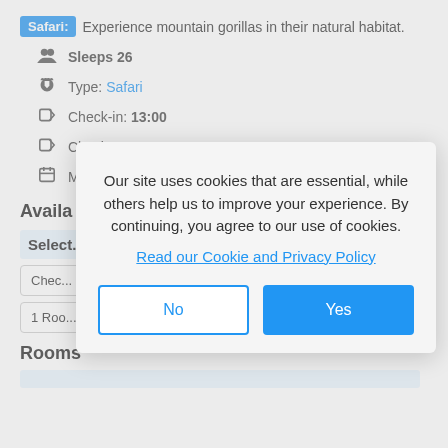Safari: Experience mountain gorillas in their natural habitat.
Sleeps 26
Type: Safari
Check-in: 13:00
Check-out: 10:00
Minimum stay: 1 Days
Availa...
Select...
Chec...
1 Roo...
Rooms
Our site uses cookies that are essential, while others help us to improve your experience. By continuing, you agree to our use of cookies. Read our Cookie and Privacy Policy
No
Yes